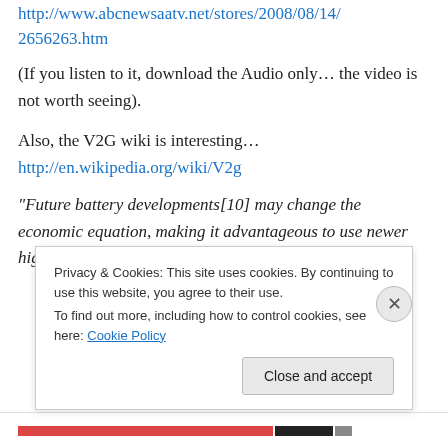http://www.abcmotaatv.net/stories/2008/08/14/2656263.htm
(If you listen to it, download the Audio only… the video is not worth seeing).
Also, the V2G wiki is interesting…
http://en.wikipedia.org/wiki/V2g
“Future battery developments[10] may change the economic equation, making it advantageous to use newer high capacity and longer-lived
Privacy & Cookies: This site uses cookies. By continuing to use this website, you agree to their use.
To find out more, including how to control cookies, see here: Cookie Policy
Close and accept